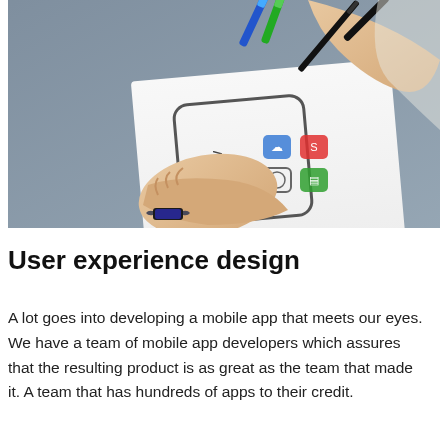[Figure (photo): A person drawing a mobile app wireframe on paper with markers, showing sketched UI elements including app icons and layout outlines. Hands are visible holding a pen and markers on a desk.]
User experience design
A lot goes into developing a mobile app that meets our eyes. We have a team of mobile app developers which assures that the resulting product is as great as the team that made it. A team that has hundreds of apps to their credit.